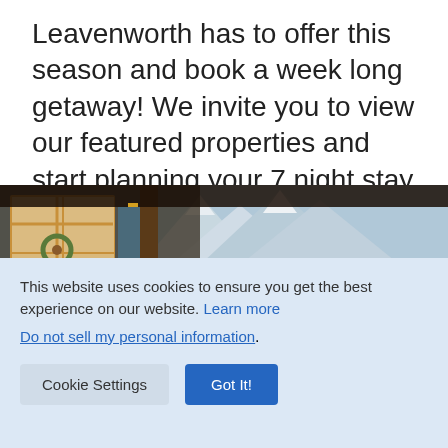Leavenworth has to offer this season and book a week long getaway! We invite you to view our featured properties and start planning your 7 night stay now!
[Figure (photo): Exterior photo of a rustic cabin porch with a wooden door, wreath, and a mountain/snow-capped peaks view in the background]
This website uses cookies to ensure you get the best experience on our website. Learn more
Do not sell my personal information.
Cookie Settings
Got It!